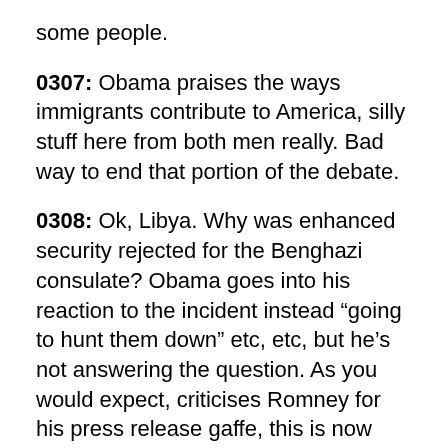some people.
0307: Obama praises the ways immigrants contribute to America, silly stuff here from both men really. Bad way to end that portion of the debate.
0308: Ok, Libya. Why was enhanced security rejected for the Benghazi consulate? Obama goes into his reaction to the incident instead “going to hunt them down” etc, etc, but he’s not answering the question. As you would expect, criticises Romney for his press release gaffe, this is now “general Libya answer”, then “general foreign policy answer”. Weak stuff I think.
0311: Romney hits Obama on the consulate attack and the lack of security, hesitant on this point to an extent. Starts to criticise the lack of intelligence and Obama’s